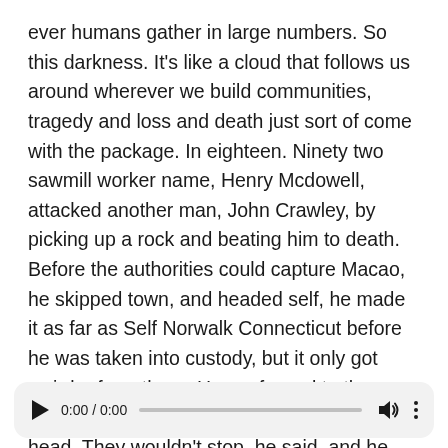ever humans gather in large numbers. So this darkness. It's like a cloud that follows us around wherever we build communities, tragedy and loss and death just sort of come with the package. In eighteen. Ninety two sawmill worker name, Henry Mcdowell, attacked another man, John Crawley, by picking up a rock and beating him to death. Before the authorities could capture Macao, he skipped town, and headed self, he made it as far as Self Norwalk Connecticut before he was taken into custody, but it only got weirder from there. He confessed to the murder but blamed it on the voices in his head. They wouldn't stop, he said, and he wanted him to kill again. So he was returned to Vermont and placed in this state asylum there. For a while
[Figure (other): Audio player UI with play button, time display showing 0:00 / 0:00, progress bar, volume icon, and more options icon]